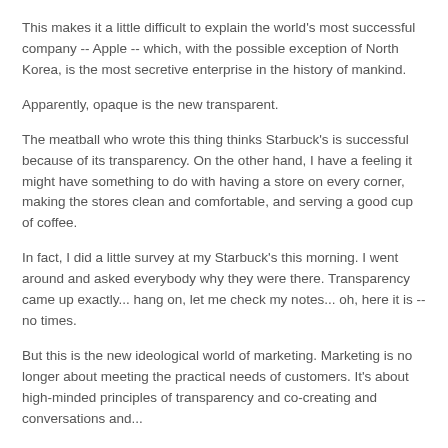This makes it a little difficult to explain the world's most successful company -- Apple -- which, with the possible exception of North Korea, is the most secretive enterprise in the history of mankind.
Apparently, opaque is the new transparent.
The meatball who wrote this thing thinks Starbuck's is successful because of its transparency. On the other hand, I have a feeling it might have something to do with having a store on every corner, making the stores clean and comfortable, and serving a good cup of coffee.
In fact, I did a little survey at my Starbuck's this morning. I went around and asked everybody why they were there. Transparency came up exactly... hang on, let me check my notes... oh, here it is -- no times.
But this is the new ideological world of marketing. Marketing is no longer about meeting the practical needs of customers. It's about high-minded principles of transparency and co-creating and conversations and...
Well, I'm afraid I have a very old guy opinion. You want customers raving about your brand? Sell them a good fucking product.